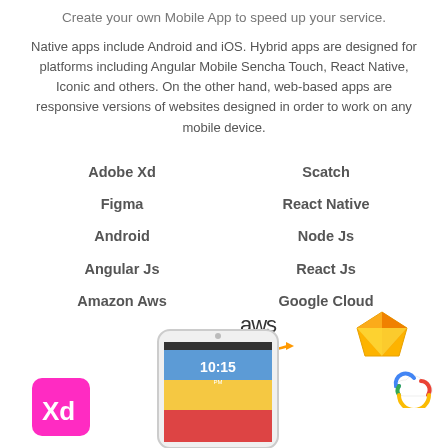Create your own Mobile App to speed up your service.
Native apps include Android and iOS. Hybrid apps are designed for platforms including Angular Mobile Sencha Touch, React Native, Iconic and others. On the other hand, web-based apps are responsive versions of websites designed in order to work on any mobile device.
Adobe Xd
Scatch
Figma
React Native
Android
Node Js
Angular Js
React Js
Amazon Aws
Google Cloud
[Figure (logo): AWS logo, Sketch diamond logo, Google Cloud logo, Adobe XD logo, and a smartphone mockup showing 10:15 PM time screen]